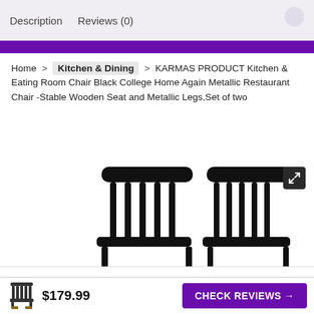Description   Reviews (0)
Home > Kitchen & Dining > KARMAS PRODUCT Kitchen & Eating Room Chair Black College Home Again Metallic Restaurant Chair -Stable Wooden Seat and Metallic Legs,Set of two
[Figure (photo): Two black metallic dining chairs with wooden spindle backs, shown side by side against a white background.]
We use cookies on our website to give you the most relevant experience by remembering your preferences and repeat visits. By clicking “Accept”, you consent to the use of ALL the cookies.
Do not sell my personal information.
$179.99
CHECK REVIEWS →